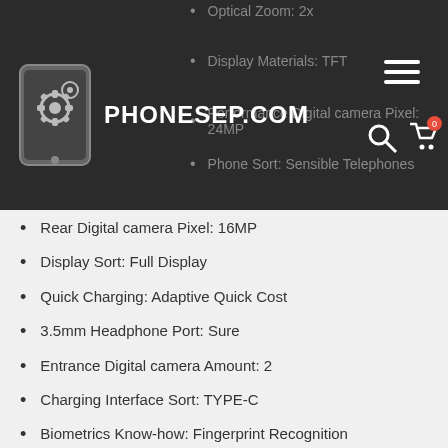PHONESEP.COM
Optical Zoom: 2x
Display Materials: TFT
Performance Digital camera Pixel: 24MP
Phone Sort: Sensible Telephones
Rear Digital camera Pixel: 16MP
Display Sort: Full Display
Quick Charging: Adaptive Quick Cost
3.5mm Headphone Port: Sure
Entrance Digital camera Amount: 2
Charging Interface Sort: TYPE-C
Biometrics Know-how: Fingerprint Recognition
NFC: No
Wi-fi Charging: No
Rear Digital camera Amount: 2
Model Title: Huawei
Huawei Mannequin: NOVA 3i 6GB 64GB
Battery Capability(mAh): 3340mAh
Google: Sure,put in
OTA Replace: Assist